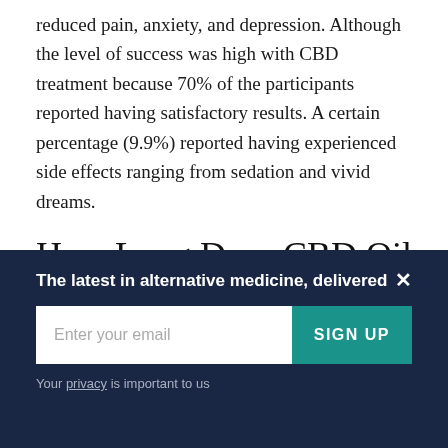reduced pain, anxiety, and depression. Although the level of success was high with CBD treatment because 70% of the participants reported having satisfactory results. A certain percentage (9.9%) reported having experienced side effects ranging from sedation and vivid dreams.
How Long Does CBD Oil Take to Work for Anxiety?
The latest in alternative medicine, delivered
Enter your email
SIGN UP
Your privacy is important to us